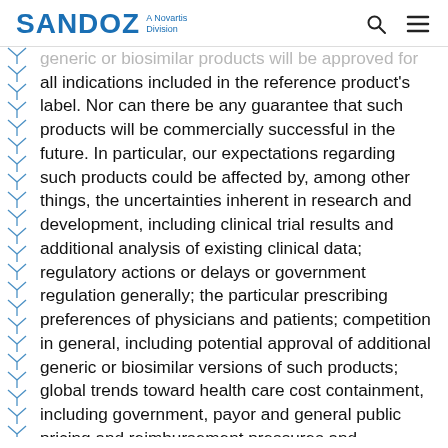SANDOZ A Novartis Division
generic or biosimilar products will be approved for all indications included in the reference product's label. Nor can there be any guarantee that such products will be commercially successful in the future. In particular, our expectations regarding such products could be affected by, among other things, the uncertainties inherent in research and development, including clinical trial results and additional analysis of existing clinical data; regulatory actions or delays or government regulation generally; the particular prescribing preferences of physicians and patients; competition in general, including potential approval of additional generic or biosimilar versions of such products; global trends toward health care cost containment, including government, payor and general public pricing and reimbursement pressures and